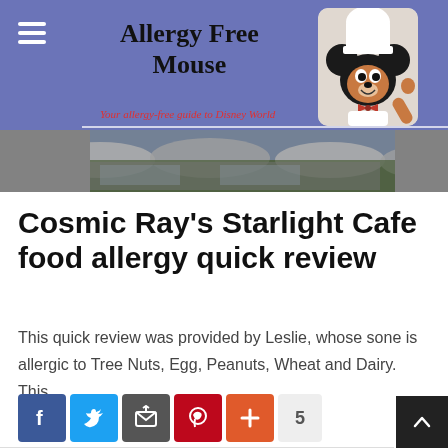[Figure (screenshot): Website header banner for 'Allergy Free Mouse' blog with blue/purple background, hamburger menu icon, site title in comic-style font, red italic tagline 'Your allergy-free guide to Disney World', Mickey Mouse chef character image on right, and a restaurant outdoor photo strip below]
Cosmic Ray's Starlight Cafe food allergy quick review
This quick review was provided by Leslie, whose sone is allergic to Tree Nuts, Egg, Peanuts, Wheat and Dairy. This...
[Figure (infographic): Social share buttons: Facebook (blue), Twitter (light blue), Email (gray), Pinterest (red), Plus/More (orange), and share count badge showing 5]